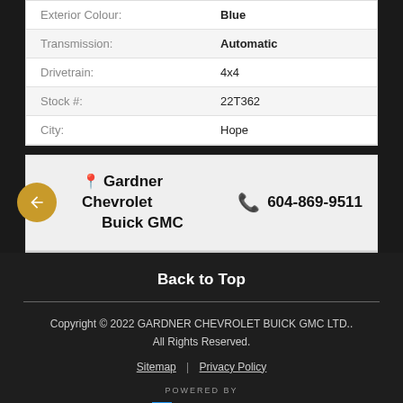| Label | Value |
| --- | --- |
| Exterior Colour: | Blue |
| Transmission: | Automatic |
| Drivetrain: | 4x4 |
| Stock #: | 22T362 |
| City: | Hope |
Gardner Chevrolet Buick GMC  604-869-9511
Back to Top
Copyright © 2022 GARDNER CHEVROLET BUICK GMC LTD.. All Rights Reserved.
Sitemap | Privacy Policy
POWERED BY eDealer